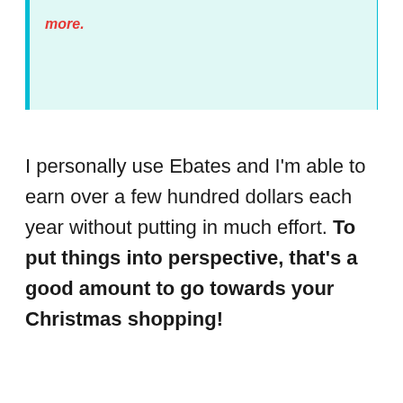more.
I personally use Ebates and I'm able to earn over a few hundred dollars each year without putting in much effort. To put things into perspective, that's a good amount to go towards your Christmas shopping!